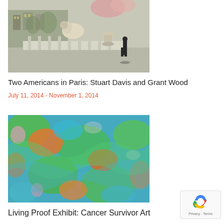[Figure (photo): Painting of a Paris scene with a white lion statue, a figure walking, buildings and flowers in background]
Two Americans in Paris: Stuart Davis and Grant Wood
July 11, 2014 - November 1, 2014
[Figure (photo): Colorful abstract painting with blues, greens, and oranges, textured surface resembling flowers or foliage]
Living Proof Exhibit: Cancer Survivor Art